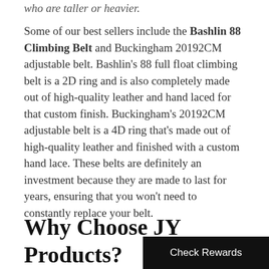who are taller or heavier.
Some of our best sellers include the Bashlin 88 Climbing Belt and Buckingham 20192CM adjustable belt. Bashlin's 88 full float climbing belt is a 2D ring and is also completely made out of high-quality leather and hand laced for that custom finish. Buckingham's 20192CM adjustable belt is a 4D ring that's made out of high-quality leather and finished with a custom hand lace. These belts are definitely an investment because they are made to last for years, ensuring that you won't need to constantly replace your belt.
Why Choose JY Products?